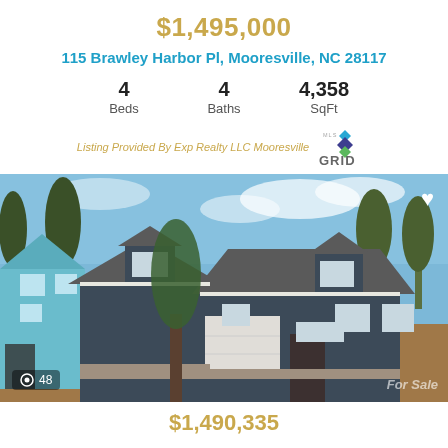$1,495,000
115 Brawley Harbor Pl, Mooresville, NC 28117
4 Beds  4 Baths  4,358 SqFt
Listing Provided By Exp Realty LLC Mooresville
[Figure (photo): Exterior photo of a large craftsman-style home with dark gray/blue siding, white trim, brown landscaping, concrete driveway, and partially cloudy sky. A blue structure is visible to the left. Photo count badge shows 48. For Sale watermark visible.]
$1,490,335